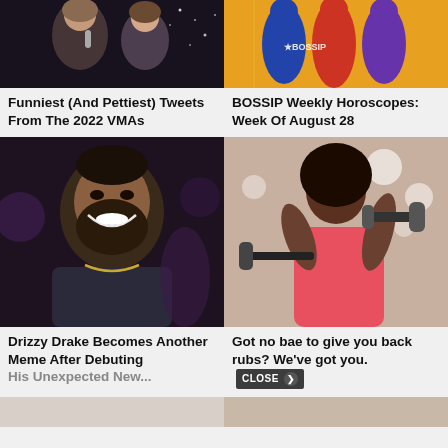[Figure (photo): Two women at the 2022 VMAs event, dark background with sparkles]
Funniest (And Pettiest) Tweets From The 2022 VMAs
[Figure (illustration): BOSSIP Weekly Horoscopes colorful illustration with silhouettes on yellow background]
BOSSIP Weekly Horoscopes: Week Of August 28
[Figure (photo): Drizzy Drake smiling at an event, dark background]
Drizzy Drake Becomes Another Meme After Debuting His Unexpected New...
[Figure (photo): Woman in pink top lifting dumbbells at a gym]
Got no bae to give you back rubs? We've got you.
[Figure (photo): Bottom strip partial images]
[Figure (photo): Bottom strip right partial image]